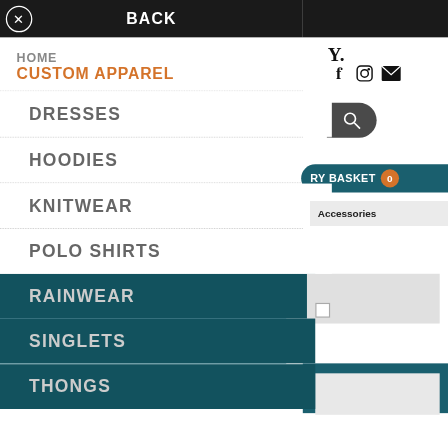BACK
HOME
CUSTOM APPAREL
DRESSES
HOODIES
KNITWEAR
POLO SHIRTS
RAINWEAR
SINGLETS
THONGS
Y.
RY BASKET 0
Accessories